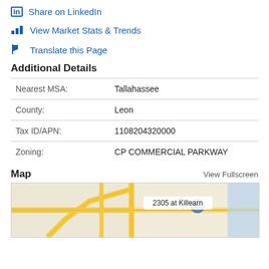in Share on LinkedIn
View Market Stats & Trends
Translate this Page
Additional Details
| Field | Value |
| --- | --- |
| Nearest MSA: | Tallahassee |
| County: | Leon |
| Tax ID/APN: | 1108204320000 |
| Zoning: | CP COMMERCIAL PARKWAY |
Map
View Fullscreen
[Figure (map): Street map showing 2305 at Killearn location with roads and intersections]